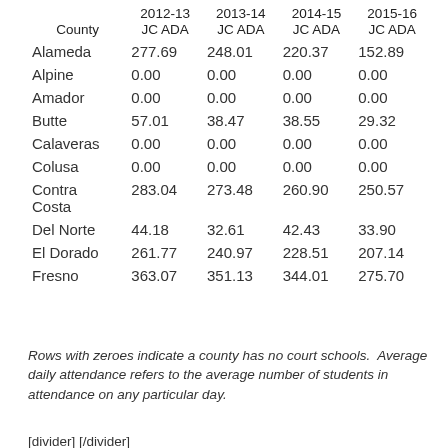| County | 2012-13 JC ADA | 2013-14 JC ADA | 2014-15 JC ADA | 2015-16 JC ADA |
| --- | --- | --- | --- | --- |
| Alameda | 277.69 | 248.01 | 220.37 | 152.89 |
| Alpine | 0.00 | 0.00 | 0.00 | 0.00 |
| Amador | 0.00 | 0.00 | 0.00 | 0.00 |
| Butte | 57.01 | 38.47 | 38.55 | 29.32 |
| Calaveras | 0.00 | 0.00 | 0.00 | 0.00 |
| Colusa | 0.00 | 0.00 | 0.00 | 0.00 |
| Contra Costa | 283.04 | 273.48 | 260.90 | 250.57 |
| Del Norte | 44.18 | 32.61 | 42.43 | 33.90 |
| El Dorado | 261.77 | 240.97 | 228.51 | 207.14 |
| Fresno | 363.07 | 351.13 | 344.01 | 275.70 |
Rows with zeroes indicate a county has no court schools.  Average daily attendance refers to the average number of students in attendance on any particular day.
[divider] [/divider]